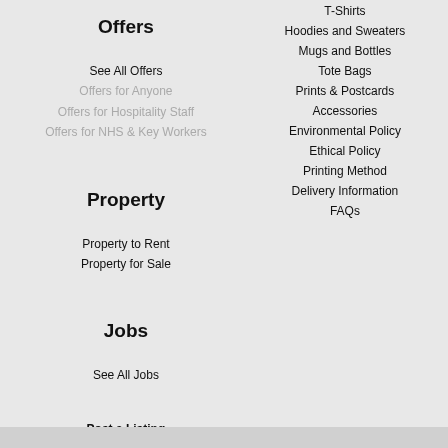Offers
See All Offers
Offers for Anyone
Offers for Hospitality Staff
Offers for NHS & Key Workers
Property
Property to Rent
Property for Sale
Jobs
See All Jobs
Post a Listing
T-Shirts
Hoodies and Sweaters
Mugs and Bottles
Tote Bags
Prints & Postcards
Accessories
Environmental Policy
Ethical Policy
Printing Method
Delivery Information
FAQs